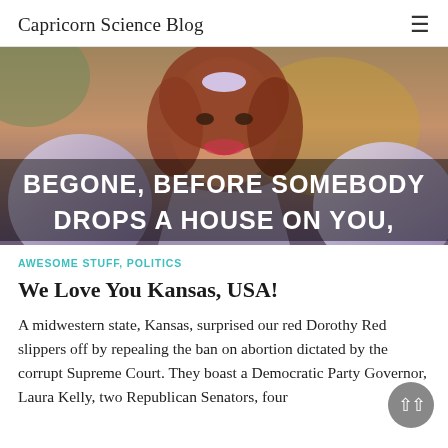Capricorn Science Blog
[Figure (photo): Meme image of a woman (Glinda the Good Witch from Wizard of Oz) with bold white text overlay reading: BEGONE, BEFORE SOMEBODY DROPS A HOUSE ON YOU,]
AWESOME STUFF, POLITICS
We Love You Kansas, USA!
A midwestern state, Kansas, surprised our red Dorothy Red slippers off by repealing the ban on abortion dictated by the corrupt Supreme Court. They boast a Democratic Party Governor, Laura Kelly, two Republican Senators, four